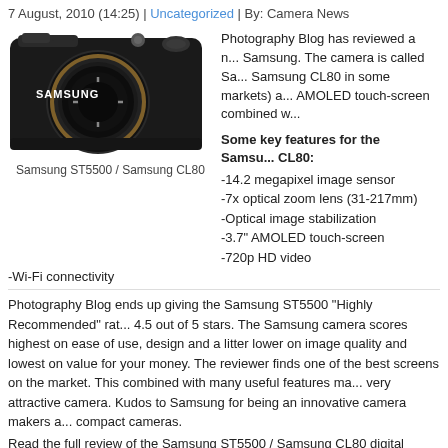7 August, 2010 (14:25) | Uncategorized | By: Camera News
[Figure (photo): Samsung ST5500 / Samsung CL80 digital camera, black, front view showing lens and 7x zoom label]
Samsung ST5500 / Samsung CL80
Photography Blog has reviewed a new camera from Samsung. The camera is called Sa... Samsung CL80 in some markets) a... AMOLED touch-screen combined w...
Some key features for the Samsung CL80:
-14.2 megapixel image sensor
-7x optical zoom lens (31-217mm)
-Optical image stabilization
-3.7" AMOLED touch-screen
-720p HD video
-Wi-Fi connectivity
Photography Blog ends up giving the Samsung ST5500 "Highly Recommended" rating and 4.5 out of 5 stars. The Samsung camera scores highest on ease of use, design and a little lower on image quality and lowest on value for your money. The reviewer finds it one of the best screens on the market. This combined with many useful features makes it a very attractive camera. Kudos to Samsung for being an innovative camera makers and compact cameras.
Read the full review of the Samsung ST5500 / Samsung CL80 digital camera here.
Samsung announces Samsung WB5500 digital camera zoom